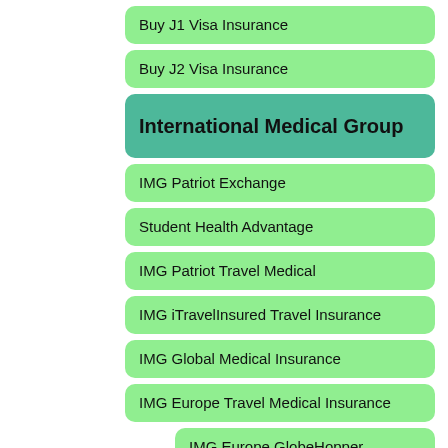Buy J1 Visa Insurance
Buy J2 Visa Insurance
International Medical Group
IMG Patriot Exchange
Student Health Advantage
IMG Patriot Travel Medical
IMG iTravelInsured Travel Insurance
IMG Global Medical Insurance
IMG Europe Travel Medical Insurance
IMG Europe GlobeHopper
IMG Purchase Links
IMG Online Service Links